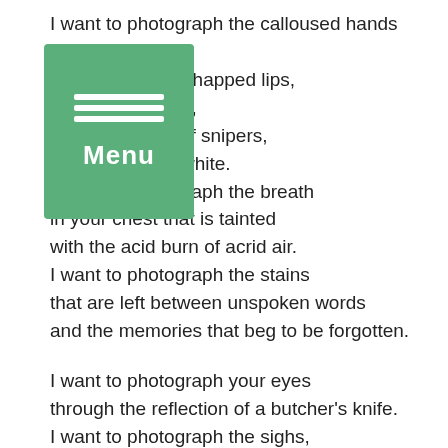I want to photograph the calloused hands
st.
hotograph your chapped lips,
heads of martyrs,
kissing the tips of snipers,
all in black and white.
I want to photograph the breath
in your chest that is tainted
with the acid burn of acrid air.
I want to photograph the stains
that are left between unspoken words
and the memories that beg to be forgotten.

I want to photograph your eyes
through the reflection of a butcher's knife.
I want to photograph the sighs,
that leave the lips of a woman
who is shrouded in black and
oppressed by the scent
of turmeric and curry.
I want to photograph how it feels
[Figure (other): Green menu button overlay with three white horizontal lines and the word 'Menu' in white text]